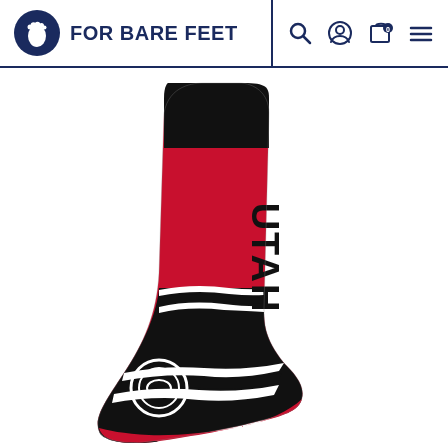FOR BARE FEET
[Figure (photo): Utah Jazz NBA basketball crew sock with red and black colorway, featuring UTAH text printed vertically on the leg, black cuff, wavy stripe design at ankle, and team logo on the toe area. The sock is shown from a side angle against a white background.]